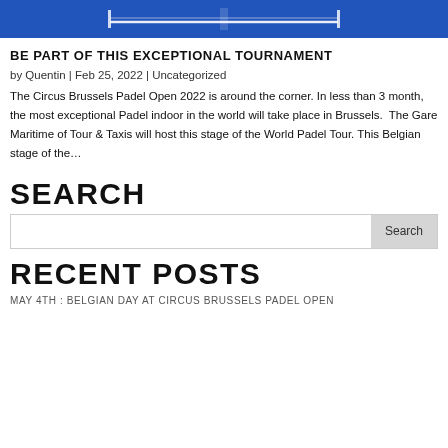[Figure (photo): Partial top view of a padel/tennis court with blue surface and net, cropped at top of page]
BE PART OF THIS EXCEPTIONAL TOURNAMENT
by Quentin | Feb 25, 2022 | Uncategorized
The Circus Brussels Padel Open 2022 is around the corner. In less than 3 month, the most exceptional Padel indoor in the world will take place in Brussels.  The Gare Maritime of Tour & Taxis will host this stage of the World Padel Tour. This Belgian stage of the…
SEARCH
RECENT POSTS
MAY 4TH : BELGIAN DAY AT CIRCUS BRUSSELS PADEL OPEN